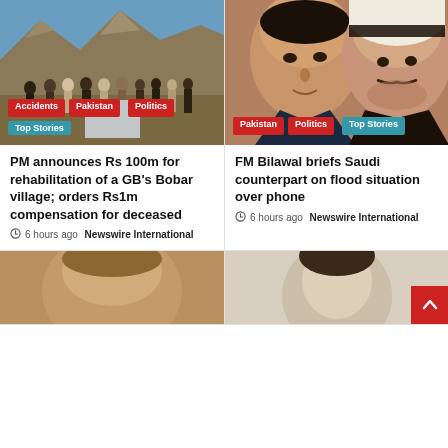[Figure (photo): Group of people standing outdoors in a mountainous area with blue sky]
Accidents Pakistan Politics Top Stories
PM announces Rs 100m for rehabilitation of a GB's Bobar village; orders Rs1m compensation for deceased
6 hours ago  Newswire International
[Figure (photo): Two men, one in a suit and one in traditional Saudi dress, close-up faces]
Pakistan Politics Top Stories
FM Bilawal briefs Saudi counterpart on flood situation over phone
6 hours ago  Newswire International
[Figure (photo): Partial image at bottom left, golden tones]
[Figure (photo): Partial image at bottom right, light tones with person visible]